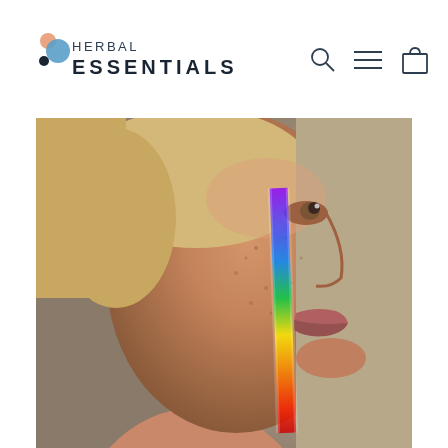HERBAL ESSENTIALS
[Figure (photo): Close-up side profile of a woman with freckled skin and blonde hair, with a rainbow light spectrum stripe crossing her face diagonally from eye to chin]